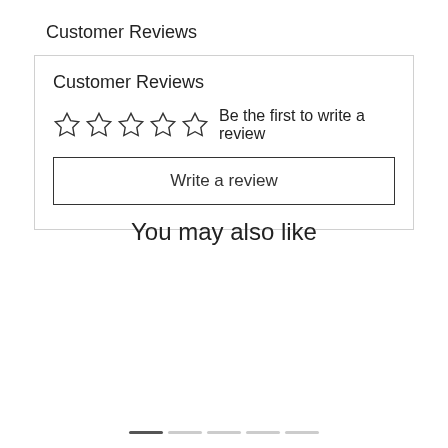Customer Reviews
[Figure (other): Five empty star rating icons with text 'Be the first to write a review']
Write a review
You may also like